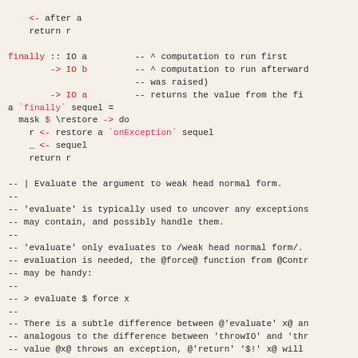Haskell source code showing finally function definition and evaluate documentation comments